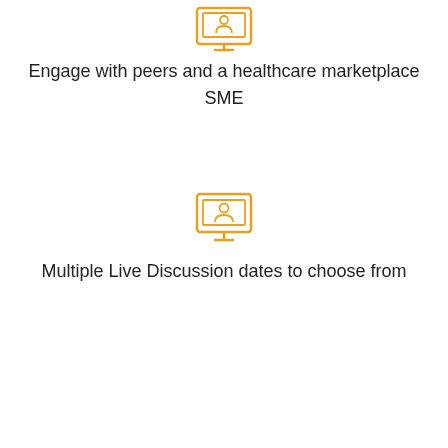[Figure (illustration): Orange icon of a person on a computer monitor (webinar/presentation icon), partially cropped at top of page]
Engage with peers and a healthcare marketplace SME
[Figure (illustration): Orange icon of a person on a computer monitor (webinar/presentation icon)]
Multiple Live Discussion dates to choose from